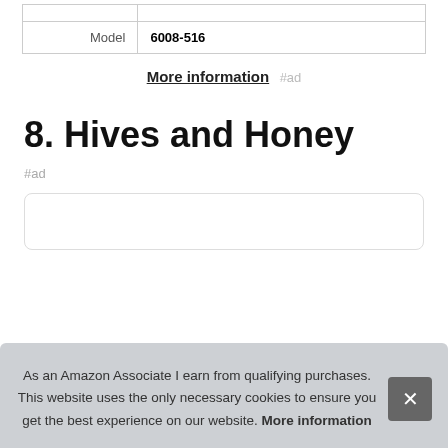| Model | 6008-516 |
More information #ad
8. Hives and Honey
#ad
As an Amazon Associate I earn from qualifying purchases. This website uses the only necessary cookies to ensure you get the best experience on our website. More information